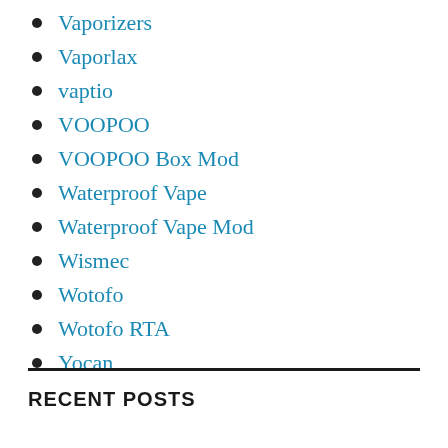Vaporizers
Vaporlax
vaptio
VOOPOO
VOOPOO Box Mod
Waterproof Vape
Waterproof Vape Mod
Wismec
Wotofo
Wotofo RTA
Yocan
RECENT POSTS